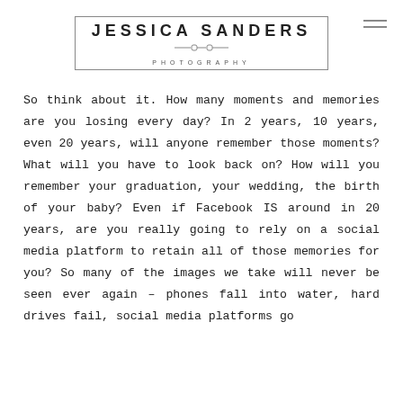JESSICA SANDERS PHOTOGRAPHY
So think about it. How many moments and memories are you losing every day? In 2 years, 10 years, even 20 years, will anyone remember those moments? What will you have to look back on? How will you remember your graduation, your wedding, the birth of your baby? Even if Facebook IS around in 20 years, are you really going to rely on a social media platform to retain all of those memories for you? So many of the images we take will never be seen ever again – phones fall into water, hard drives fail, social media platforms go